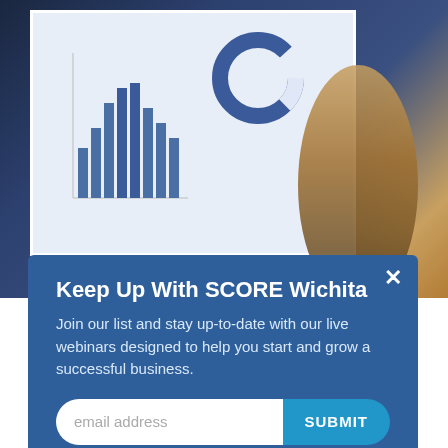[Figure (photo): Woman presenting data charts on a large screen in a conference room. Screen shows bar chart and donut chart. Background is dark blue/navy.]
Keep Up With SCORE Wichita
Join our list and stay up-to-date with our live webinars designed to help you start and grow a successful business.
email address
November 17, 2021, Tiffany Delmore
Make the most of your marketing by tracking these 7 key metrics.